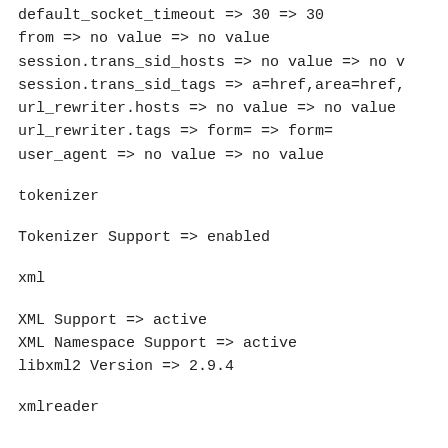default_socket_timeout => 30 => 30
from => no value => no value
session.trans_sid_hosts => no value => no v
session.trans_sid_tags => a=href,area=href,
url_rewriter.hosts => no value => no value
url_rewriter.tags => form= => form=
user_agent => no value => no value
tokenizer
Tokenizer Support => enabled
xml
XML Support => active
XML Namespace Support => active
libxml2 Version => 2.9.4
xmlreader